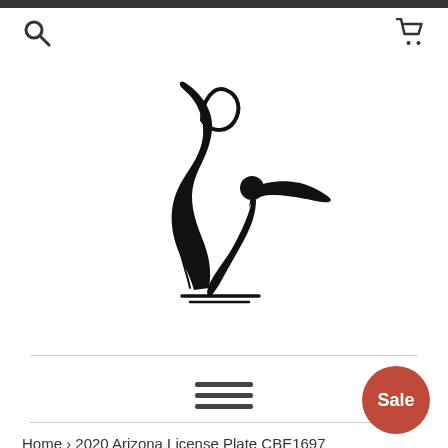[Figure (logo): Abstract figure/dancer logo in black line art, stylized person with flowing ribbon shapes]
[Figure (other): Hamburger menu icon — three horizontal dark bars stacked vertically]
Home › 2020 Arizona License Plate CBE1697
Sale